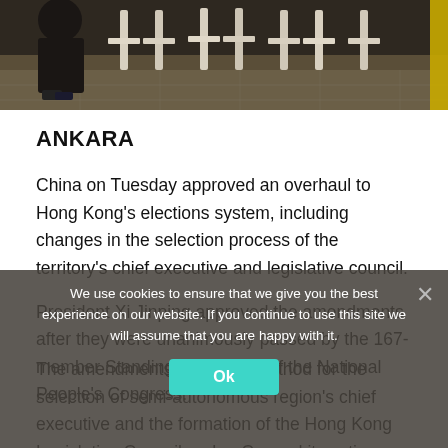[Figure (photo): Top portion of a photo showing chairs and a tiled floor with a yellow line on the right side, dark background]
ANKARA
China on Tuesday approved an overhaul to Hong Kong's elections system, including changes in the selection process of the territory's chief executive and legislative council.
President Xi Jinping approved the amendments after they were unanimously passed by the 167-member Standing Committee of the National People's Congress.
The amendments affect the method for the selection of semi-autonomous region's chief executive and the formation of the Hong Kong Legislative Council, or LegCo, and its voting procedures, according to a statement by China's State Council
We use cookies to ensure that we give you the best experience on our website. If you continue to use this site we will assume that you are happy with it.